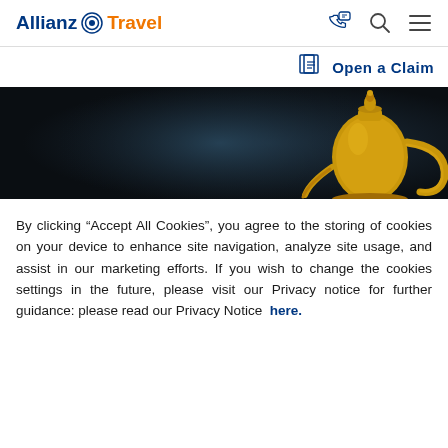Allianz Travel
Open a Claim
[Figure (photo): Dark background with a golden Arabic coffee pot (dallah) on the right side]
By clicking “Accept All Cookies”, you agree to the storing of cookies on your device to enhance site navigation, analyze site usage, and assist in our marketing efforts. If you wish to change the cookies settings in the future, please visit our Privacy notice for further guidance: please read our Privacy Notice here.